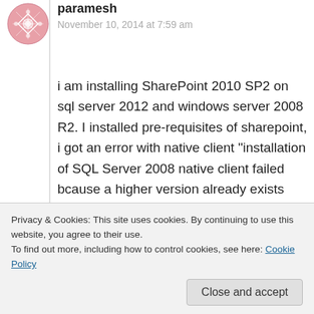[Figure (illustration): Pink/rose avatar icon with geometric diamond/flower pattern for user paramesh]
paramesh
November 10, 2014 at 7:59 am
i am installing SharePoint 2010 SP2 on sql server 2012 and windows server 2008 R2. I installed pre-requisites of sharepoint, i got an error with native client "installation of SQL Server 2008 native client failed bcause a higher version already exists

on the machine. to proceed, uninstall the higher version and then run SQL Server 2008
Privacy & Cookies: This site uses cookies. By continuing to use this website, you agree to their use.
To find out more, including how to control cookies, see here: Cookie Policy
Close and accept
Like